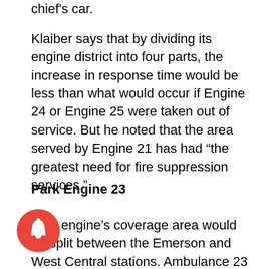chief's car.
Klaiber says that by dividing its engine district into four parts, the increase in response time would be less than what would occur if Engine 24 or Engine 25 were taken out of service. But he noted that the area served by Engine 21 has had “the greatest need for fire suppression services.”
Park Engine 23
That engine’s coverage area would be split between the Emerson and West Central stations. Ambulance 23 and Truck 23 would remain at Station 3.